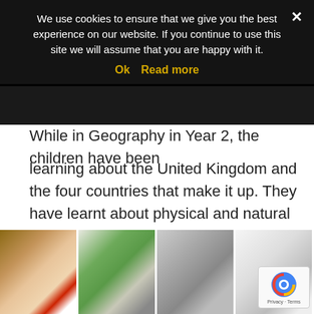We use cookies to ensure that we give you the best experience on our website. If you continue to use this site we will assume that you are happy with it.
Ok   Read more
While in Geography in Year 2, the children have been learning about the United Kingdom and the four countries that make it up. They have learnt about physical and natural features of the UK, found these on the map in an atlas and placed these on a map of the UK. They also learnt about capital cities in the UK, placed these on a map and looked at the landmarks seen in each. The children then looked specifically at London and the landmarks that can be seen there, choosing their favourites to visit if they travelled to London. Lots of the children wanted to go on the London Eye!
[Figure (photo): Strip of photos showing children working and maps/charts of the UK]